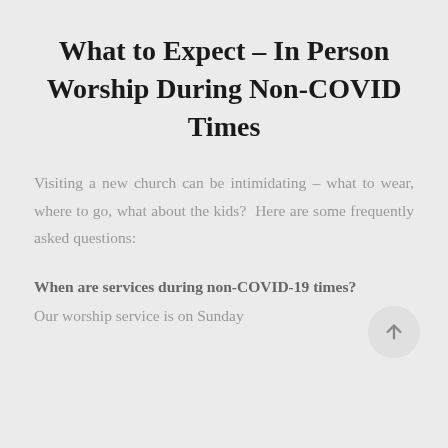What to Expect – In Person Worship During Non-COVID Times
Visiting a new church can be intimidating – what to wear, where to go, what about the kids?  Here are some frequently asked questions:
When are services during non-COVID-19 times?
Our worship service is on Sunday